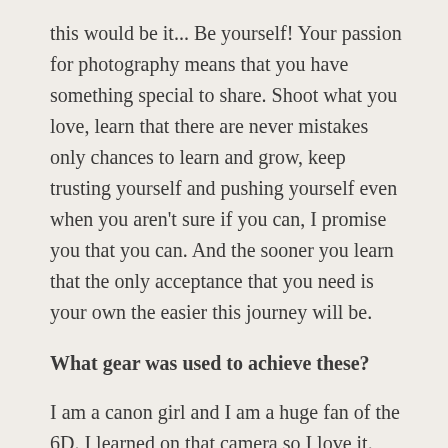this would be it... Be yourself! Your passion for photography means that you have something special to share. Shoot what you love, learn that there are never mistakes only chances to learn and grow, keep trusting yourself and pushing yourself even when you aren't sure if you can, I promise you that you can. And the sooner you learn that the only acceptance that you need is your own the easier this journey will be.
What gear was used to achieve these?
I am a canon girl and I am a huge fan of the 6D. I learned on that camera so I love it. This session I relied most on my Sigma Art 35 1.4 (s